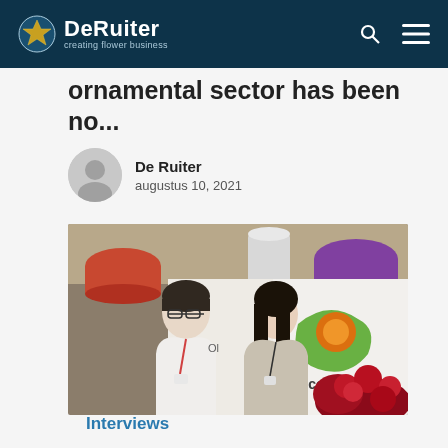DeRuiter creating flower business
ornamental sector has been no...
De Ruiter
augusters 10, 2021
[Figure (photo): Two people standing at a trade show booth with Agroccer branding and red roses]
Interviews